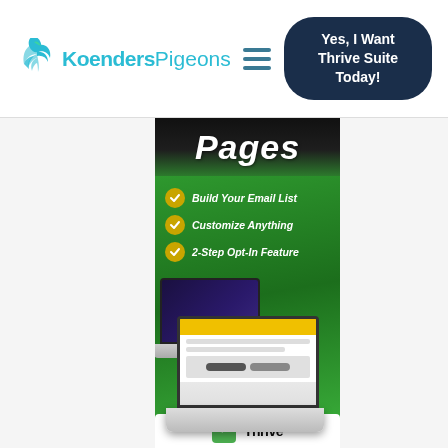KoendersPigeons — Yes, I Want Thrive Suite Today!
[Figure (screenshot): Website navigation bar with Koenders Pigeons logo (teal leaf + text), hamburger menu icon, and a dark navy rounded button reading 'Yes, I Want Thrive Suite Today!']
[Figure (illustration): Thrive Pages advertisement banner with green gradient background. Shows 'Pages' text in bold italic white on dark top strip, three checkmark bullet features: 'Build Your Email List', 'Customize Anything', '2-Step Opt-In Feature', and two laptop images showing software interfaces. Bottom strip shows 'Thrive' branding text.]